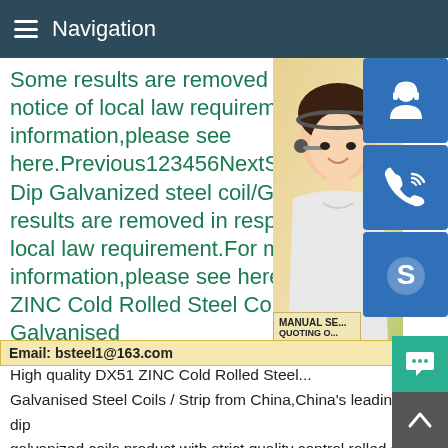Navigation
Some results are removed in notice of local law requirement information,please see here.Previous123456NextSP... Dip Galvanized steel coil/GI c... results are removed in response to local law requirement.For more information,please see here.1... ZINC Cold Rolled Steel Coil , Galvanised
[Figure (photo): Photo of a woman wearing a headset, likely a customer service representative, with icons for support, phone, and Skype on the right side]
MANUAL SE... QUOTING O...
Email: bsteel1@163.com
High quality DX51 ZINC Cold Rolled Steel... Galvanised Steel Coils / Strip from China,China's leading hot dip galvanized coils product,with strict quality control rolled steel coils factories,producing high quality rolled steel coils products.Some results are removed in response to a notice of local law requirement.For more information,please see here.